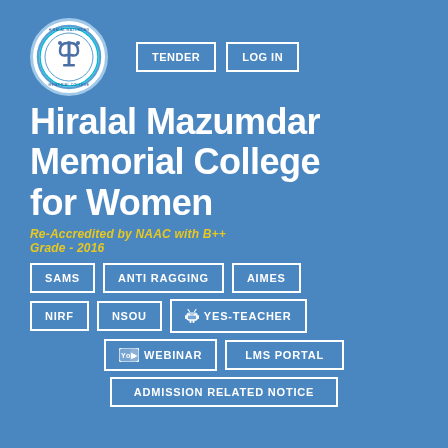[Figure (logo): Hiralal Mazumdar Memorial College for Women circular seal/emblem with blue border]
TENDER
LOG IN
Hiralal Mazumdar Memorial College for Women
Re-Accredited by NAAC with B++ Grade - 2016
SAMS
ANTI RAGGING
AIMES
NIRF
NSOU
YES-TEACHER
WEBINAR
LMS PORTAL
ADMISSION RELATED NOTICE